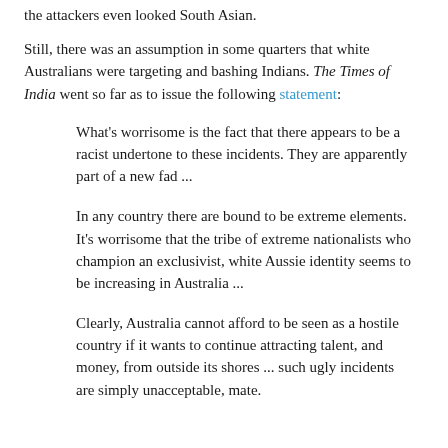the attackers even looked South Asian.

Still, there was an assumption in some quarters that white Australians were targeting and bashing Indians. The Times of India went so far as to issue the following statement:
What's worrisome is the fact that there appears to be a racist undertone to these incidents. They are apparently part of a new fad ...
In any country there are bound to be extreme elements. It's worrisome that the tribe of extreme nationalists who champion an exclusivist, white Aussie identity seems to be increasing in Australia ...
Clearly, Australia cannot afford to be seen as a hostile country if it wants to continue attracting talent, and money, from outside its shores ... such ugly incidents are simply unacceptable, mate.